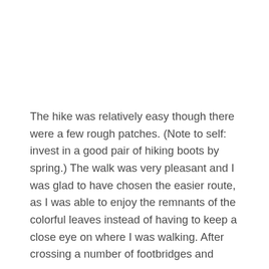The hike was relatively easy though there were a few rough patches. (Note to self: invest in a good pair of hiking boots by spring.) The walk was very pleasant and I was glad to have chosen the easier route, as I was able to enjoy the remnants of the colorful leaves instead of having to keep a close eye on where I was walking. After crossing a number of footbridges and